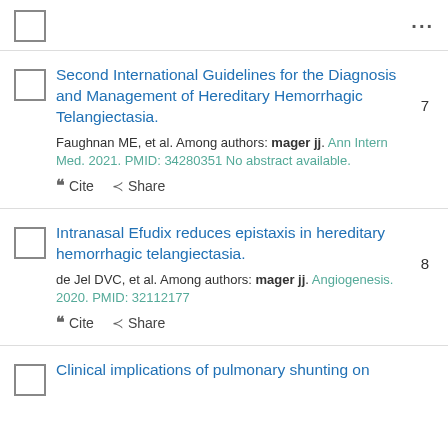☐ ...
Second International Guidelines for the Diagnosis and Management of Hereditary Hemorrhagic Telangiectasia.
Faughnan ME, et al. Among authors: mager jj. Ann Intern Med. 2021. PMID: 34280351 No abstract available.
" Cite  < Share
Intranasal Efudix reduces epistaxis in hereditary hemorrhagic telangiectasia.
de Jel DVC, et al. Among authors: mager jj. Angiogenesis. 2020. PMID: 32112177
" Cite  < Share
Clinical implications of pulmonary shunting on